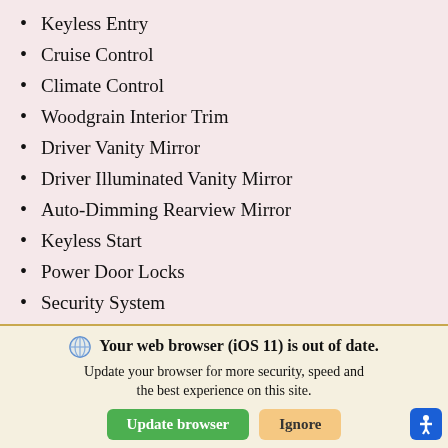Keyless Entry
Cruise Control
Climate Control
Woodgrain Interior Trim
Driver Vanity Mirror
Driver Illuminated Vanity Mirror
Auto-Dimming Rearview Mirror
Keyless Start
Power Door Locks
Security System
Traction Control
Traction Control
Blind Spot Monitor
Lane Keeping Assist
Your web browser (iOS 11) is out of date. Update your browser for more security, speed and the best experience on this site.